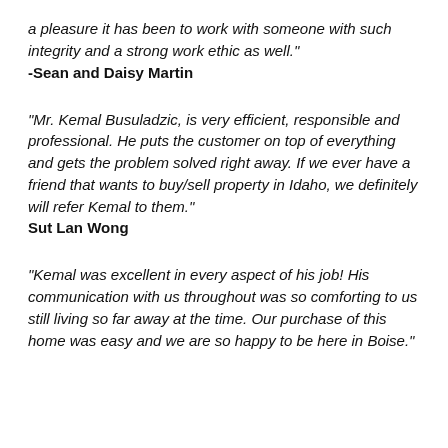a pleasure it has been to work with someone with such integrity and a strong work ethic as well."
-Sean and Daisy Martin
"Mr. Kemal Busuladzic, is very efficient, responsible and professional. He puts the customer on top of everything and gets the problem solved right away. If we ever have a friend that wants to buy/sell property in Idaho, we definitely will refer Kemal to them."
Sut Lan Wong
"Kemal was excellent in every aspect of his job! His communication with us throughout was so comforting to us still living so far away at the time. Our purchase of this home was easy and we are so happy to be here in Boise."